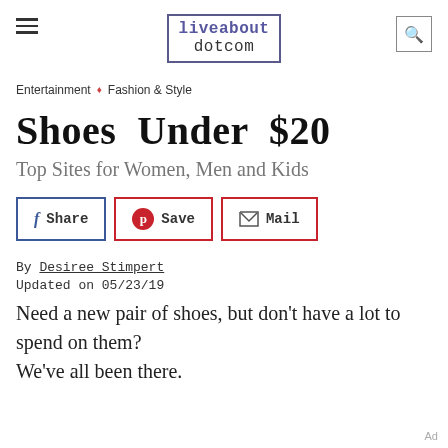liveabout dotcom
Entertainment ◆ Fashion & Style
Shoes Under $20
Top Sites for Women, Men and Kids
[Figure (infographic): Share buttons: Facebook Share, Pinterest Save, Mail]
By Desiree Stimpert
Updated on 05/23/19
Need a new pair of shoes, but don't have a lot to spend on them?
We've all been there.